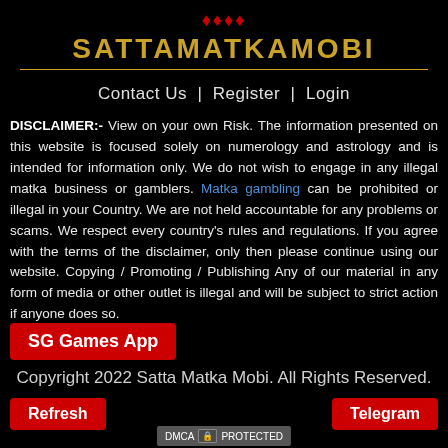SATTAMATKAMOBI
Contact Us | Register | Login
DISCLAIMER:- View on your own Risk. The information presented on this website is focused solely on numerology and astrology and is intended for information only. We do not wish to engage in any illegal matka business or gamblers. Matka gambling can be prohibited or illegal in your Country. We are not held accountable for any problems or scams. We respect every country's rules and regulations. If you agree with the terms of the disclaimer, only then please continue using our website. Copying / Promoting / Publishing Any of our material in any form of media or other outlet is illegal and will be subject to strict action if anyone does so.
SG Games App
Copyright 2022 Satta Matka Mobi. All Rights Reserved.
Refresh
Telegram
DMCA PROTECTED